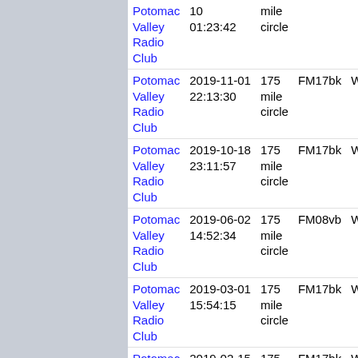| Club | Date/Time | Distance | Grid | Call |
| --- | --- | --- | --- | --- |
| Potomac Valley Radio Club | 10
01:23:42 | mile
circle |  |  |
| Potomac Valley Radio Club | 2019-11-01
22:13:30 | 175 mile
circle | FM17bk | WG3J |
| Potomac Valley Radio Club | 2019-10-18
23:11:57 | 175 mile
circle | FM17bk | WG3J |
| Potomac Valley Radio Club | 2019-06-02
14:52:34 | 175 mile
circle | FM08vb | WG3J |
| Potomac Valley Radio Club | 2019-03-01
15:54:15 | 175 mile
circle | FM17bk | WG3J |
| Potomac Valley Radio Club | 2019-02-15
14:54:59 | 175 mile
circle | FM17bk | WG3J |
| Potomac Valley Radio Club | 2019-02-08
21:13:04 | 175 mile
circle | FM17bk | WG3J |